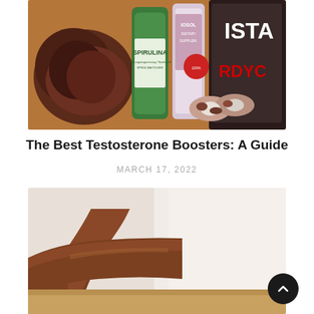[Figure (photo): Health supplements and food items on a wooden surface: a piece of meat on the left, a green bottle of Spirulina powder in the center, a bottle of Iosol dietary supplement, and a dark container (Cordyceps) partially visible on the right.]
The Best Testosterone Boosters: A Guide
MARCH 17, 2022
[Figure (photo): Close-up of a person's arms and torso resting on a light-colored surface, with blurred background.]